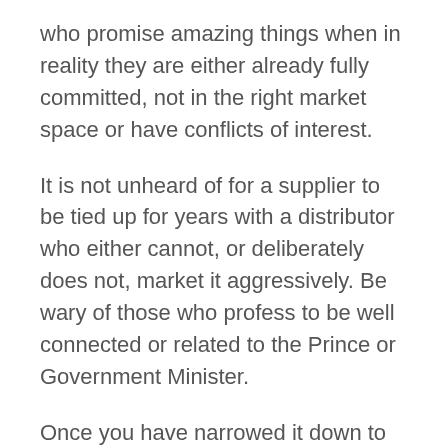who promise amazing things when in reality they are either already fully committed, not in the right market space or have conflicts of interest.
It is not unheard of for a supplier to be tied up for years with a distributor who either cannot, or deliberately does not, market it aggressively. Be wary of those who profess to be well connected or related to the Prince or Government Minister.
Once you have narrowed it down to one or two potential companies, suggest a loose working relationship to start with until you are both sure you are a good fit. See if they produce the goods, open the right